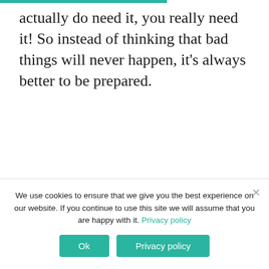actually do need it, you really need it! So instead of thinking that bad things will never happen, it's always better to be prepared.
We use cookies to ensure that we give you the best experience on our website. If you continue to use this site we will assume that you are happy with it. Privacy policy